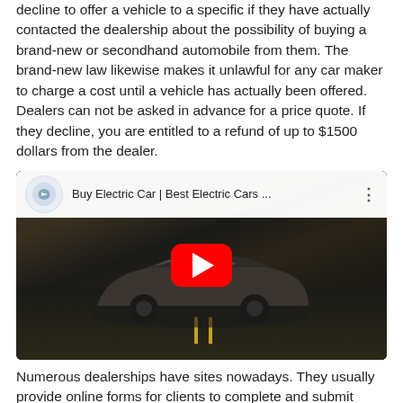decline to offer a vehicle to a specific if they have actually contacted the dealership about the possibility of buying a brand-new or secondhand automobile from them. The brand-new law likewise makes it unlawful for any car maker to charge a cost until a vehicle has actually been offered. Dealers can not be asked in advance for a price quote. If they decline, you are entitled to a refund of up to $1500 dollars from the dealer.
[Figure (screenshot): YouTube video thumbnail showing an electric car (Lucid Air) driving on a road with the title 'Buy Electric Car | Best Electric Cars ...' and a red play button overlay.]
Numerous dealerships have sites nowadays. They usually provide online forms for clients to complete and submit